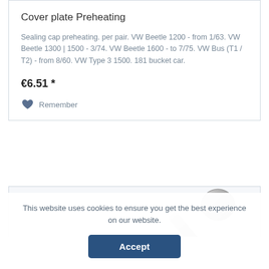Cover plate Preheating
Sealing cap preheating. per pair. VW Beetle 1200 - from 1/63. VW Beetle 1300 | 1500 - 3/74. VW Beetle 1600 - to 7/75. VW Bus (T1 / T2) - from 8/60. VW Type 3 1500. 181 bucket car.
€6.51 *
Remember
[Figure (photo): Partial view of a metal automotive part (cover plate/sealing cap) shown in silver/chrome finish]
This website uses cookies to ensure you get the best experience on our website.